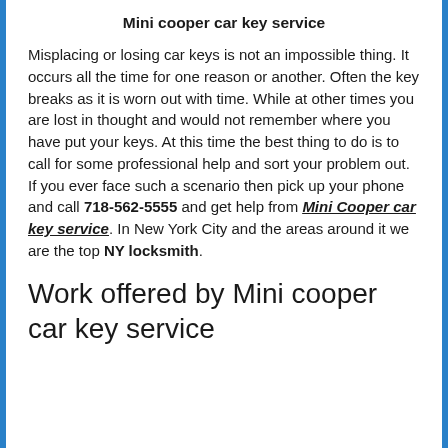Mini cooper car key service
Misplacing or losing car keys is not an impossible thing. It occurs all the time for one reason or another. Often the key breaks as it is worn out with time. While at other times you are lost in thought and would not remember where you have put your keys. At this time the best thing to do is to call for some professional help and sort your problem out. If you ever face such a scenario then pick up your phone and call 718-562-5555 and get help from Mini Cooper car key service. In New York City and the areas around it we are the top NY locksmith.
Work offered by Mini cooper car key service